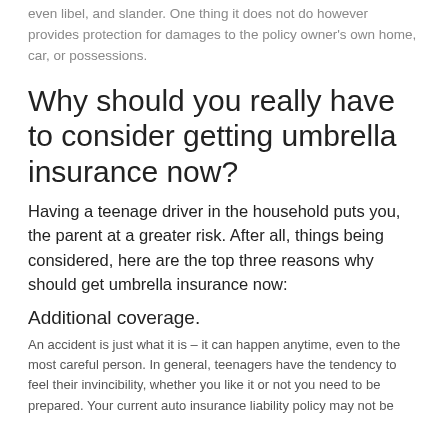even libel, and slander. One thing it does not do however provides protection for damages to the policy owner's own home, car, or possessions.
Why should you really have to consider getting umbrella insurance now?
Having a teenage driver in the household puts you, the parent at a greater risk. After all, things being considered, here are the top three reasons why should get umbrella insurance now:
Additional coverage.
An accident is just what it is – it can happen anytime, even to the most careful person. In general, teenagers have the tendency to feel their invincibility, whether you like it or not you need to be prepared. Your current auto insurance liability policy may not be